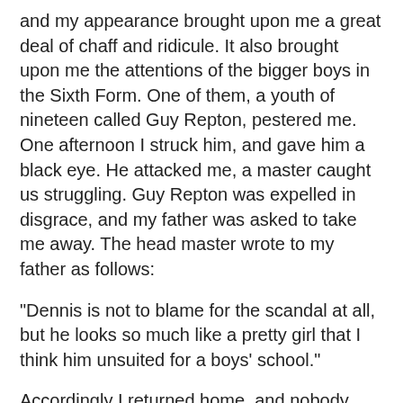and my appearance brought upon me a great deal of chaff and ridicule. It also brought upon me the attentions of the bigger boys in the Sixth Form. One of them, a youth of nineteen called Guy Repton, pestered me. One afternoon I struck him, and gave him a black eye. He attacked me, a master caught us struggling. Guy Repton was expelled in disgrace, and my father was asked to take me away. The head master wrote to my father as follows:
"Dennis is not to blame for the scandal at all, but he looks so much like a pretty girl that I think him unsuited for a boys' school."
Accordingly I returned home, and nobody knew what to do with me. I could not go to another school. I was too young for the University. I stayed at home for six months. My father was already sickening with his last illness. There was no one to control me; and no doubt I bullied the servants, was tyrannical and threatening to the tenants, was rude to Helen and contemptuous of Miss Priscilla. Miss Priscilla had precise old-maidish neatnesses which it was a pleasure to me to offend. To stamp about the drawing-room in noisy